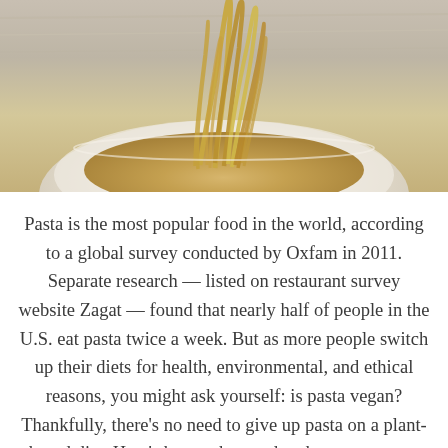[Figure (photo): Close-up photo of pasta (spaghetti or fettuccine) being lifted from a white bowl, showing the noodles twisted and swirled upward. Warm golden tones, blurred background with a wooden surface visible.]
Pasta is the most popular food in the world, according to a global survey conducted by Oxfam in 2011. Separate research — listed on restaurant survey website Zagat — found that nearly half of people in the U.S. eat pasta twice a week. But as more people switch up their diets for health, environmental, and ethical reasons, you might ask yourself: is pasta vegan? Thankfully, there's no need to give up pasta on a plant-based diet. Here's how to buy and make vegan pasta.